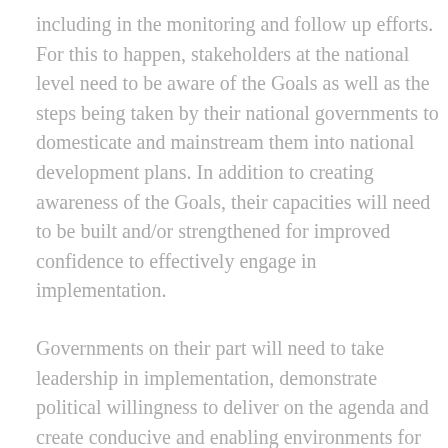including in the monitoring and follow up efforts. For this to happen, stakeholders at the national level need to be aware of the Goals as well as the steps being taken by their national governments to domesticate and mainstream them into national development plans. In addition to creating awareness of the Goals, their capacities will need to be built and/or strengthened for improved confidence to effectively engage in implementation.
Governments on their part will need to take leadership in implementation, demonstrate political willingness to deliver on the agenda and create conducive and enabling environments for multi-stakeholder participation and buy in.
Moving from MDGs to SDGs